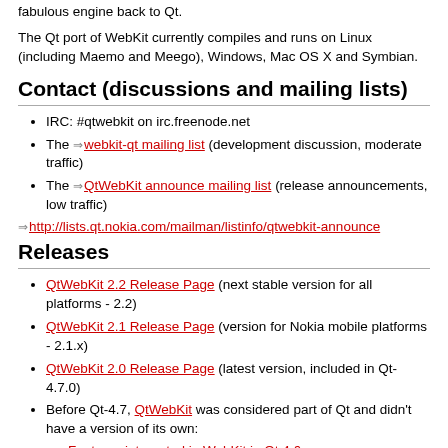fabulous engine back to Qt.
The Qt port of WebKit currently compiles and runs on Linux (including Maemo and Meego), Windows, Mac OS X and Symbian.
Contact (discussions and mailing lists)
IRC: #qtwebkit on irc.freenode.net
The webkit-qt mailing list (development discussion, moderate traffic)
The QtWebKit announce mailing list (release announcements, low traffic)
http://lists.qt.nokia.com/mailman/listinfo/qtwebkit-announce
Releases
QtWebKit 2.2 Release Page (next stable version for all platforms - 2.2)
QtWebKit 2.1 Release Page (version for Nokia mobile platforms - 2.1.x)
QtWebKit 2.0 Release Page (latest version, included in Qt-4.7.0)
Before Qt-4.7, QtWebKit was considered part of Qt and didn't have a version of its own:
Features integrated in WebKit in Qt 4.6
Features integrated in WebKit in Qt 4.5
Release procedures and policies